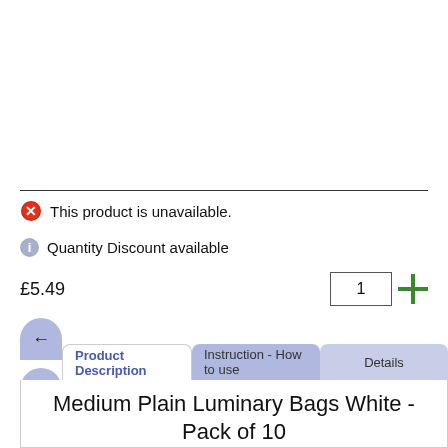This product is unavailable.
Quantity Discount available
£5.49
Medium Plain Luminary Bags White - Pack of 10
Decorate with style your outdoor spaces with Medium Plain Luminary Bags